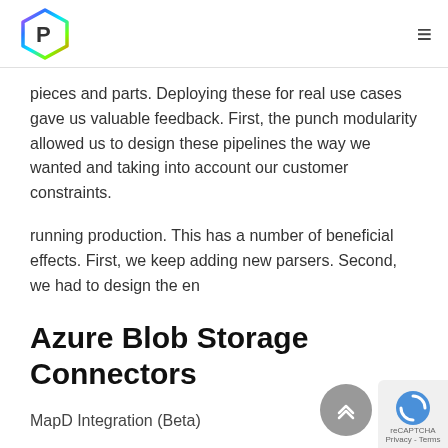Paperspace logo and navigation menu
pieces and parts. Deploying these for real use cases gave us valuable feedback. First, the punch modularity allowed us to design these pipelines the way we wanted and taking into account our customer constraints.
running production. This has a number of beneficial effects. First, we keep adding new parsers. Second, we had to design the en
Azure Blob Storage Connectors
MapD Integration (Beta)
Categories:  ANNOUNCEMENT